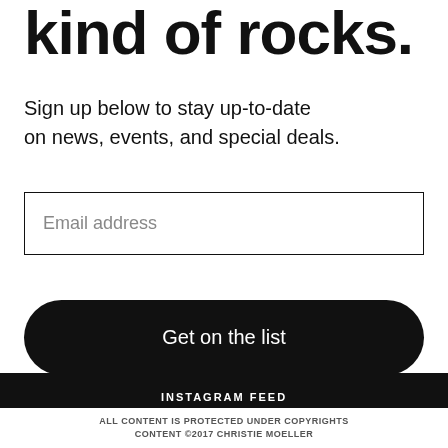kind of rocks.
Sign up below to stay up-to-date on news, events, and special deals.
Email address
Get on the list
INSTAGRAM FEED
ALL CONTENT IS PROTECTED UNDER COPYRIGHTS CONTENT ©2017 CHRISTIE MOELLER